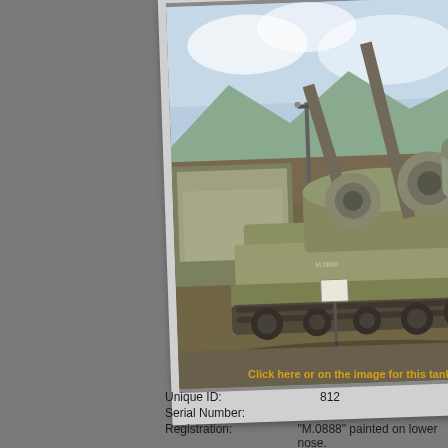[Figure (photo): Military tank with twin gun barrels displayed outdoors, with other armored vehicles in the background, mountains and cloudy sky visible. A sign on a pole stands in front of the tank.]
Click here or on the image for this tank
| Unique ID: | 812 |
| Serial Number: |  |
| Registration: | "M.0888" painted on lower nose. |
| Name: |  |
| Other Identification: |  |